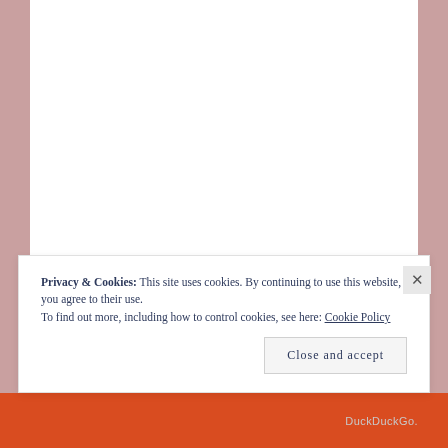[Figure (screenshot): Cookie consent banner overlay on a website. White banner with dark blue text reading: 'Privacy & Cookies: This site uses cookies. By continuing to use this website, you agree to their use. To find out more, including how to control cookies, see here: Cookie Policy'. A close (X) button appears at the top right of the banner. A 'Close and accept' button appears at the bottom right. The background is a muted rose/pink color with a white content area. A dark orange/red bar with 'DuckDuckGo.' text is visible at the very bottom.]